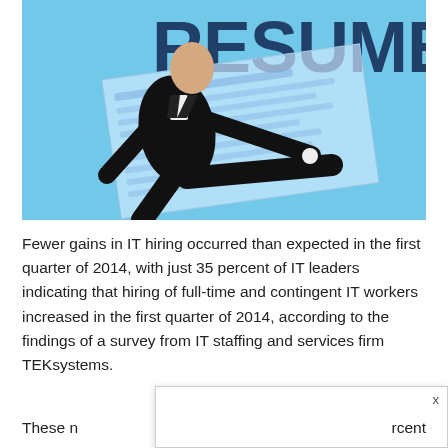[Figure (photo): A person in a business suit kicking, with a large 'RESUME' text and a paper document visible in the background against a blue background]
Fewer gains in IT hiring occurred than expected in the first quarter of 2014, with just 35 percent of IT leaders indicating that hiring of full-time and contingent IT workers increased in the first quarter of 2014, according to the findings of a survey from IT staffing and services firm TEKsystems.
These n[...popup overlay...]rcent